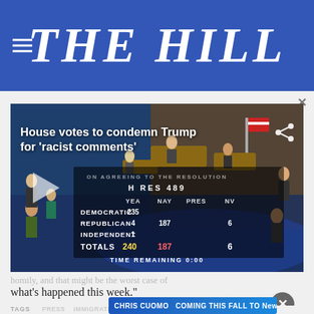THE HILL
[Figure (screenshot): Video thumbnail showing US House chamber floor vote tally: H RES 489, ON AGREEING TO THE RESOLUTION. Democratic YEA: 235, Republican YEA: 4, NAY: 187, Independent YEA: 1, TOTALS YEA: 240, NAY: 187, NV: 6. TIME REMAINING 0:00. Headline overlay: House votes to condemn Trump for 'racist comments']
homily, and that might be the worst case of what's happened this week."
TAGS
PRESS   IMMIGRATION   NANCY PELOSI   RACE   RAJA KRISHNAMOORTHI   RASHIDA TLAIB